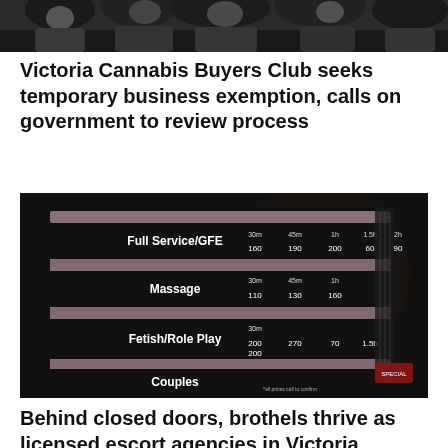[Figure (photo): Partial photo at top of page showing people in a crowd, dark background]
Victoria Cannabis Buyers Club seeks temporary business exemption, calls on government to review process
[Figure (photo): Dark photo of an illuminated services price board/menu board showing categories: Full Service/GFE, Massage, Fetish/Role Play, Couples — likely from a brothel or escort agency]
Behind closed doors, brothels thrive as licensed escort agencies in Victoria